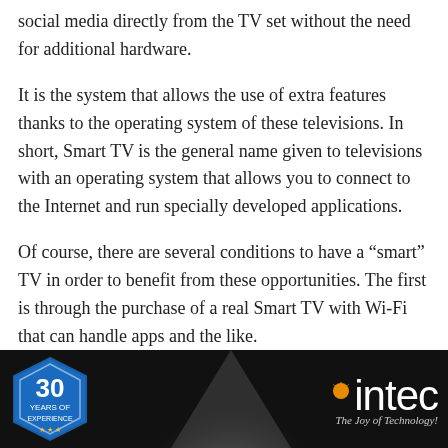social media directly from the TV set without the need for additional hardware.
It is the system that allows the use of extra features thanks to the operating system of these televisions. In short, Smart TV is the general name given to televisions with an operating system that allows you to connect to the Internet and run specially developed applications.
Of course, there are several conditions to have a “smart” TV in order to benefit from these opportunities. The first is through the purchase of a real Smart TV with Wi-Fi that can handle apps and the like.
[Figure (photo): Dark banner image with a spotlight in the center, a hexagonal '30 Years of Experience' badge on the left, and the 'intec - The Joy of Technology!' logo on the right in white text.]